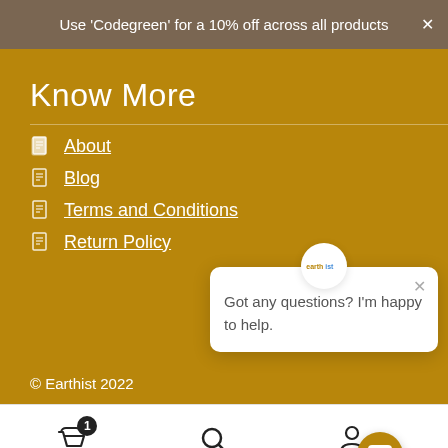Use 'Codegreen' for a 10% off across all products
Know More
About
Blog
Terms and Conditions
Return Policy
Got any questions? I'm happy to help.
© Earthist 2022